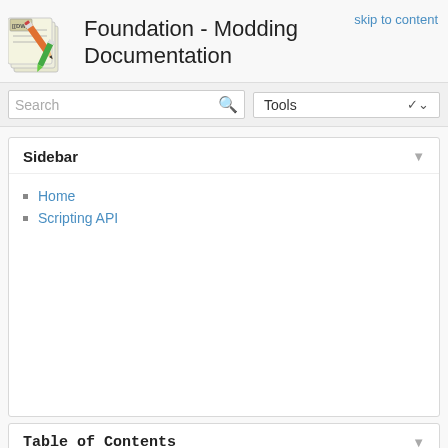Foundation - Modding Documentation
skip to content
[Figure (logo): DokuWiki logo — cartoon pencil and pen on paper sheets]
Foundation - Modding Documentation
Sidebar
Home
Scripting API
Table of Contents
Mod IO functions
fileExists